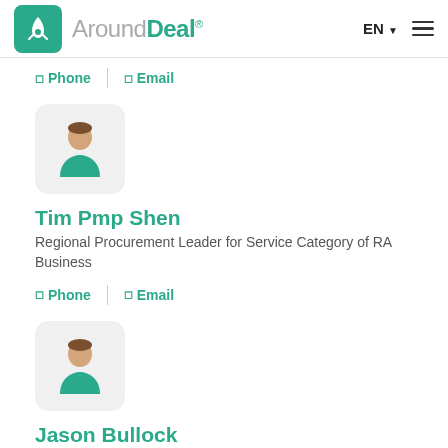[Figure (logo): AroundDeal logo with teal rocket icon and brand name]
Phone | Email
[Figure (illustration): Generic user avatar with teal shirt on light gray rounded rectangle]
Tim Pmp Shen
Regional Procurement Leader for Service Category of RA Business
Phone | Email
[Figure (illustration): Generic user avatar with teal shirt on light gray rounded rectangle]
Jason Bullock